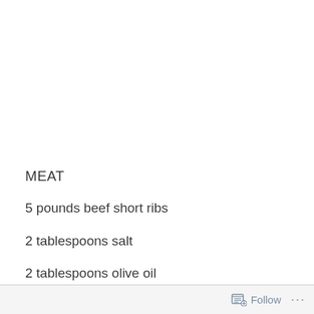MEAT
5 pounds beef short ribs
2 tablespoons salt
2 tablespoons olive oil
1-2 sprigs fresh rosemary
Follow ...